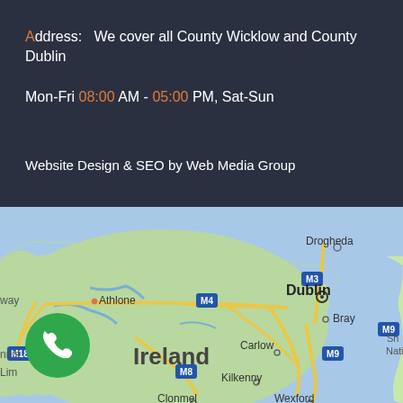Address:   We cover all County Wicklow and County Dublin
Mon-Fri 08:00 AM - 05:00 PM, Sat-Sun
Website Design & SEO by Web Media Group
[Figure (map): Google Maps view of Ireland showing eastern region including Dublin, Bray, Drogheda, Athlone, Carlow, Kilkenny, Clonmel, Wexford, Waterford. Major motorways M3, M4, M9, M11, M18, M8 visible. Sea on the right side.]